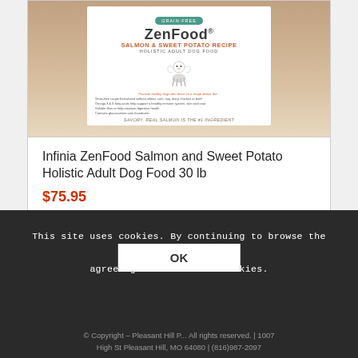[Figure (photo): Product image of Infinia ZenFood Salmon & Sweet Potato Recipe Holistic Adult Dog Food bag, grain-free, with a dog illustration on the label]
Infinia ZenFood Salmon and Sweet Potato Holistic Adult Dog Food 30 lb
$75.95
Show Details
This site uses cookies. By continuing to browse the site, you are agreeing to our use of cookies.
OK
© Copyright – Pleasant Hill P... All rights reserved. | 1007 High St Pleasant Hill, MO 64080 | (816)987-2097